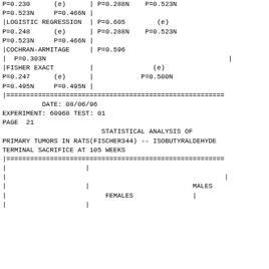P=0.230  (e)  | P=0.288N  P=0.523N
P=0.523N  P=0.466N  |
|LOGISTIC REGRESSION  | P=0.605  (e)
P=0.248  (e)  | P=0.288N  P=0.523N
P=0.523N  P=0.466N  |
|COCHRAN-ARMITAGE  | P=0.596
|  P=0.303N                                         |
|FISHER EXACT  |  (e)
P=0.247  (e)  |  P=0.500N
P=0.495N  P=0.495N  |
|=======================================================
DATE: 08/06/96
EXPERIMENT: 60968 TEST: 01
PAGE  21
STATISTICAL ANALYSIS OF PRIMARY TUMORS IN RATS(FISCHER344) -- ISOBUTYRALDEHYDE
TERMINAL SACRIFICE AT 105 WEEKS
|=======================================================
|
|
|
|                         FEMALES                     |
|                    |                          MALES
|                    |